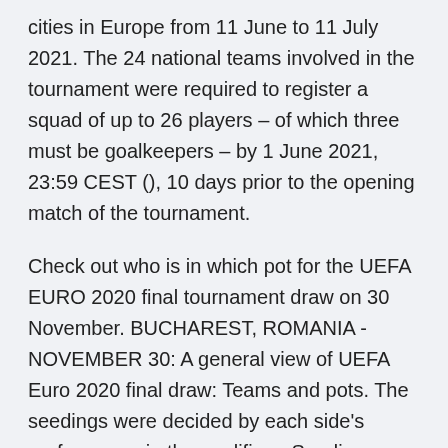cities in Europe from 11 June to 11 July 2021. The 24 national teams involved in the tournament were required to register a squad of up to 26 players – of which three must be goalkeepers – by 1 June 2021, 23:59 CEST (), 10 days prior to the opening match of the tournament.
Check out who is in which pot for the UEFA EURO 2020 final tournament draw on 30 November. BUCHAREST, ROMANIA - NOVEMBER 30: A general view of UEFA Euro 2020 final draw: Teams and pots. The seedings were decided by each side's performance in the qualifiers. Seedings were based on the overall European Qualifiers rankings, which were determined based on final position in the group, points, goal difference, goals scored, away goals scored, number of wins, number of away wins and position in overall UEFA Nations League rankings. The pots have been